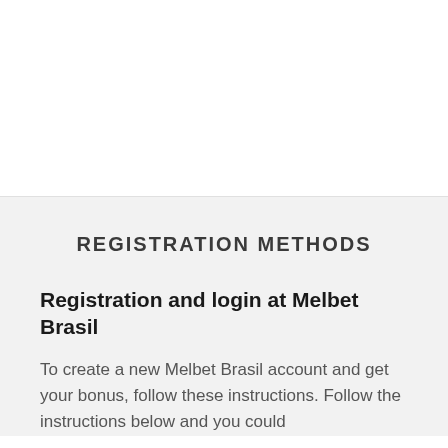REGISTRATION METHODS
Registration and login at Melbet Brasil
To create a new Melbet Brasil account and get your bonus, follow these instructions. Follow the instructions below and you could